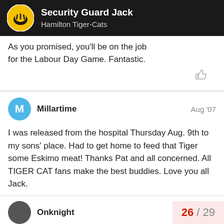Security Guard Jack · Hamilton Tiger-Cats
As you promised, you'll be on the job for the Labour Day Game. Fantastic.
Millartime · Aug '07
I was released from the hospital Thursday Aug. 9th to my sons' place. Had to get home to feed that Tiger some Eskimo meat! Thanks Pat and all concerned. All TIGER CAT fans make the best buddies. Love you all Jack.
Onknight
26 / 29